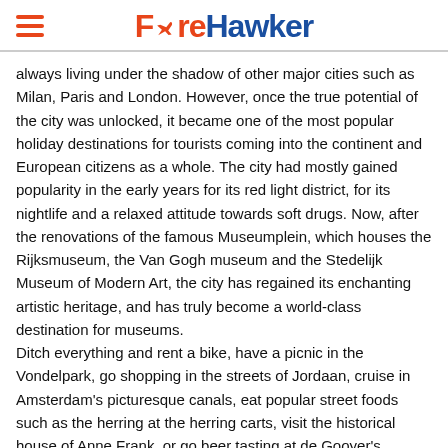[Figure (logo): FareHawker logo with orange hamburger menu icon on left, orange 'Fare' and blue 'Hawker' text with airplane icon integrated into the logo]
always living under the shadow of other major cities such as Milan, Paris and London. However, once the true potential of the city was unlocked, it became one of the most popular holiday destinations for tourists coming into the continent and European citizens as a whole. The city had mostly gained popularity in the early years for its red light district, for its nightlife and a relaxed attitude towards soft drugs. Now, after the renovations of the famous Museumplein, which houses the Rijksmuseum, the Van Gogh museum and the Stedelijk Museum of Modern Art, the city has regained its enchanting artistic heritage, and has truly become a world-class destination for museums.
Ditch everything and rent a bike, have a picnic in the Vondelpark, go shopping in the streets of Jordaan, cruise in Amsterdam's picturesque canals, eat popular street foods such as the herring at the herring carts, visit the historical house of Anne Frank, or go beer tasting at de Gooyer's Brouwerij 'Tij (and the tons of microbreweries on offer throughout the city). The list of things you can do in this city is truly endless. Amsterdam is an absolute must visit on your European itinerary!